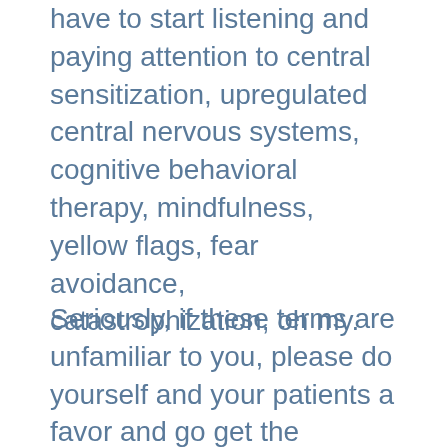have to start listening and paying attention to central sensitization, upregulated central nervous systems, cognitive behavioral therapy, mindfulness, yellow flags, fear avoidance, catastrophization, oh my.
Seriously, if these terms are unfamiliar to you, please do yourself and your patients a favor and go get the smarts. You can start the smarts right here in our podcast episodes. I talk about this stuff non-